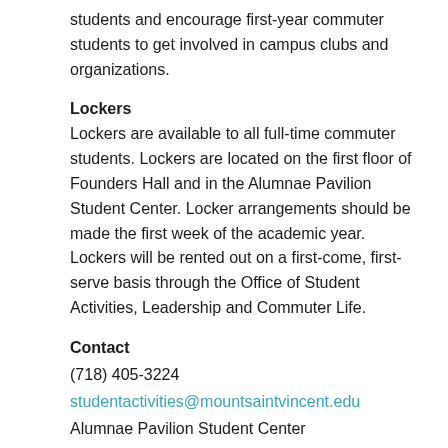students and encourage first-year commuter students to get involved in campus clubs and organizations.
Lockers
Lockers are available to all full-time commuter students. Lockers are located on the first floor of Founders Hall and in the Alumnae Pavilion Student Center. Locker arrangements should be made the first week of the academic year.  Lockers will be rented out on a first-come, first-serve basis through the Office of Student Activities, Leadership and Commuter Life.
Contact
(718) 405-3224
studentactivities@mountsaintvincent.edu
Alumnae Pavilion Student Center